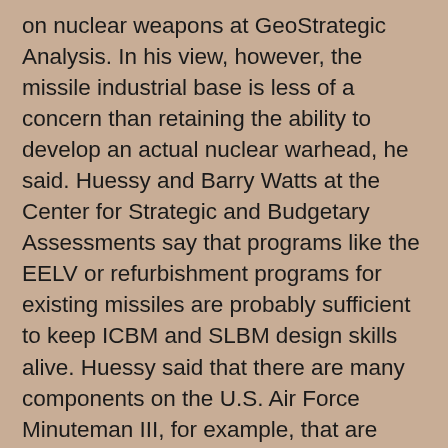on nuclear weapons at GeoStrategic Analysis. In his view, however, the missile industrial base is less of a concern than retaining the ability to develop an actual nuclear warhead, he said. Huessy and Barry Watts at the Center for Strategic and Budgetary Assessments say that programs like the EELV or refurbishment programs for existing missiles are probably sufficient to keep ICBM and SLBM design skills alive. Huessy said that there are many components on the U.S. Air Force Minuteman III, for example, that are being replaced—which requires many of the skills needed to design an entirely new weapon. “They have all sorts of ideas on how to build a Minuteman [replacement],” he said.
But while the United States continues to upgrade existing missiles, other nations continue to develop and field nuclear weapons and the launch vehicles to deliver them. Russia continues to modernize its arsenal with new Topol-M ICBMs, new Bulava SLBMs, and reportedly another new heavy ICBM that is under development. So too, is China modernizing its nuclear forces, Huessy said. “[Assistant Defense Secretary Madelyn Creeden, in her April 17 testimony before the Senate Armed Services Committee]